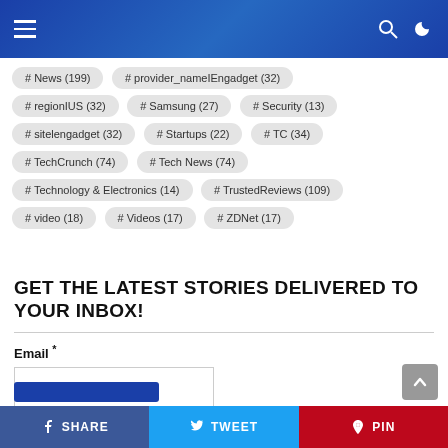Navigation bar with hamburger menu, search icon, and dark mode toggle
# News (199)
# provider_nameIEngadget (32)
# regionIUS (32)
# Samsung (27)
# Security (13)
# sitelengadget (32)
# Startups (22)
# TC (34)
# TechCrunch (74)
# Tech News (74)
# Technology & Electronics (14)
# TrustedReviews (109)
# video (18)
# Videos (17)
# ZDNet (17)
GET THE LATEST STORIES DELIVERED TO YOUR INBOX!
Email *
SHARE  TWEET  PIN